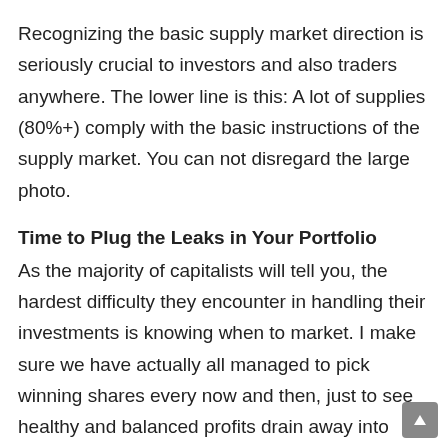Recognizing the basic supply market direction is seriously crucial to investors and also traders anywhere. The lower line is this: A lot of supplies (80%+) comply with the basic instructions of the supply market. You can not disregard the large photo.
Time to Plug the Leaks in Your Portfolio
As the majority of capitalists will tell you, the hardest difficulty they encounter in handling their investments is knowing when to market. I make sure we have actually all managed to pick winning shares every now and then, just to see healthy and balanced profits drain away into excruciating losses. When I was brand-new to the globe of investing, that's an experience that I can all also readily determine with. Nevertheless, I'm pleased to claim that with the arrival of a couple of more grey hairs and also the evolution of my 3 factor list, issues over